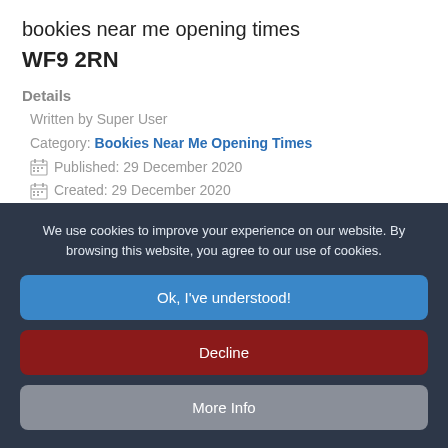bookies near me opening times
WF9 2RN
Details
Written by Super User
Category: Bookies Near Me Opening Times
Published: 29 December 2020
Created: 29 December 2020
Last Updated: 29 December 2020
Hits: 86
bookies near me opening times   bookies near me open now
We use cookies to improve your experience on our website. By browsing this website, you agree to our use of cookies.
Ok, I've understood!
Decline
More Info